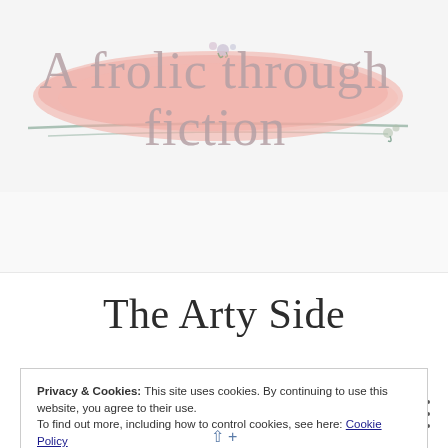[Figure (illustration): Blog header banner with pink watercolor brush stroke background and script text reading 'A frolic through fiction', with small floral decorations]
A frolic through fiction
[Figure (other): Navigation bar with hamburger menu icon (three horizontal lines) on the right side]
The Arty Side
Privacy & Cookies: This site uses cookies. By continuing to use this website, you agree to their use.
To find out more, including how to control cookies, see here: Cookie Policy
Close and accept